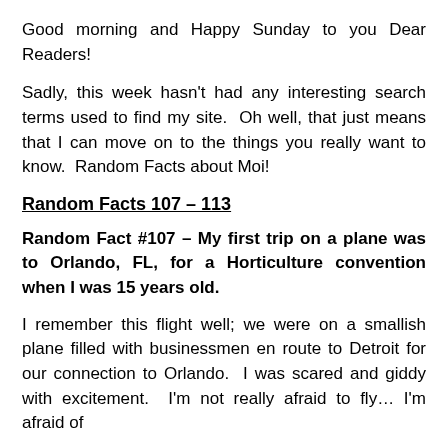Good morning and Happy Sunday to you Dear Readers!
Sadly, this week hasn't had any interesting search terms used to find my site.  Oh well, that just means that I can move on to the things you really want to know.  Random Facts about Moi!
Random Facts 107 – 113
Random Fact #107 – My first trip on a plane was to Orlando, FL, for a Horticulture convention when I was 15 years old.
I remember this flight well; we were on a smallish plane filled with businessmen en route to Detroit for our connection to Orlando.  I was scared and giddy with excitement.  I'm not really afraid to fly… I'm afraid of